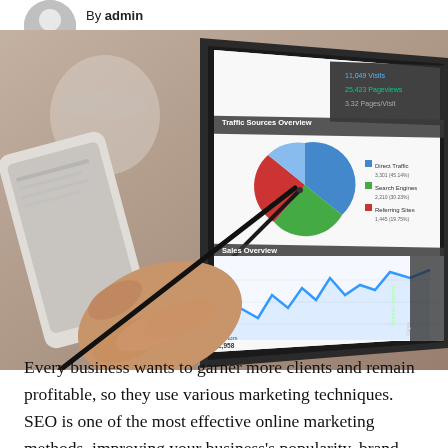By admin
[Figure (photo): A person pointing a stylus at a tablet screen displaying a web analytics dashboard with a pie chart showing Traffic Sources Overview (Direct Traffic, Search Engines, Referring Sites) and a line chart showing visits (2,958), alongside a smartphone in the background.]
Every business wants to garner more clients and remain profitable, so they use various marketing techniques. SEO is one of the most effective online marketing methods, improving your business’s popularity, brand awareness,